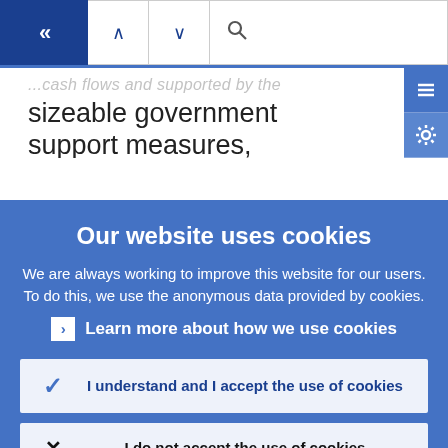[Figure (screenshot): Navigation bar with back (double chevron left), up arrow, down arrow buttons and a search bar]
...cash flows and supported by the sizeable government support measures, substantial monetary policy
Our website uses cookies
We are always working to improve this website for our users. To do this, we use the anonymous data provided by cookies.
Learn more about how we use cookies
I understand and I accept the use of cookies
I do not accept the use of cookies